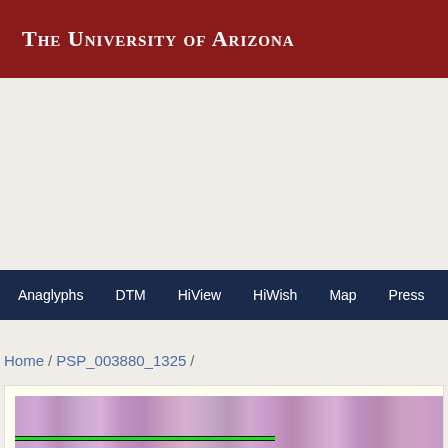The University of Arizona
[Figure (screenshot): Navigation bar with links: Anaglyphs, DTM, HiView, HiWish, Map, Press, Scie...]
Home / PSP_003880_1325 /
[Figure (photo): Horizontal strip image showing Mars surface terrain in purplish/pink tones with a green horizontal line overlaid near the bottom, partially cropped at right edge.]